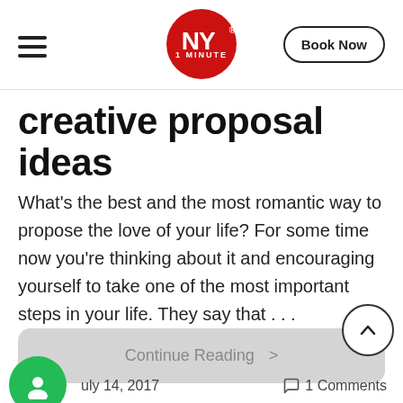NY 1 MINUTE | Book Now
creative proposal ideas
What's the best and the most romantic way to propose the love of your life? For some time now you're thinking about it and encouraging yourself to take one of the most important steps in your life. They say that . . .
Continue Reading >
July 14, 2017    1 Comments